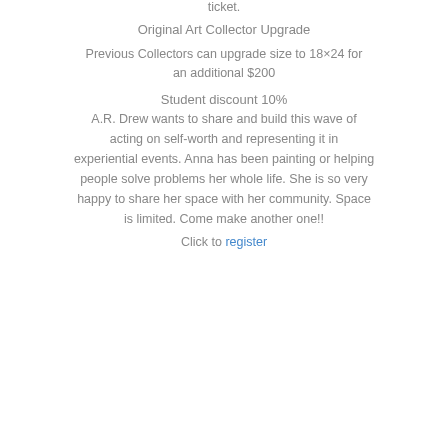ticket.
Original Art Collector Upgrade
Previous Collectors can upgrade size to 18×24 for an additional $200
Student discount 10%
A.R. Drew wants to share and build this wave of acting on self-worth and representing it in experiential events. Anna has been painting or helping people solve problems her whole life. She is so very happy to share her space with her community. Space is limited. Come make another one!!
Click to register